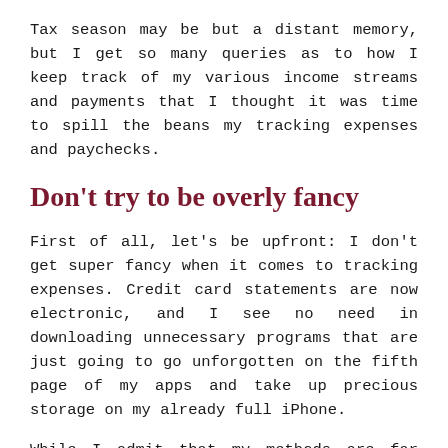Tax season may be but a distant memory, but I get so many queries as to how I keep track of my various income streams and payments that I thought it was time to spill the beans my tracking expenses and paychecks.
Don't try to be overly fancy
First of all, let's be upfront: I don't get super fancy when it comes to tracking expenses. Credit card statements are now electronic, and I see no need in downloading unnecessary programs that are just going to go unforgotten on the fifth page of my apps and take up precious storage on my already full iPhone.
While I admit that my methods are far from fancy, they are thorough, which is important,